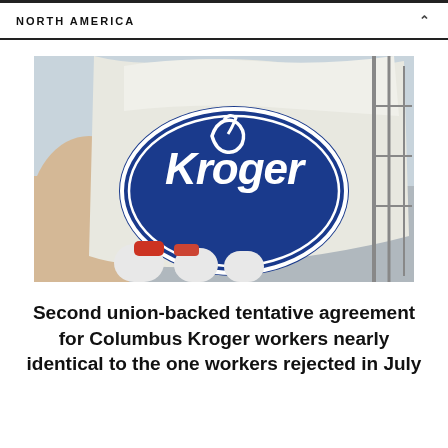NORTH AMERICA
[Figure (photo): A Kroger grocery bag with the Kroger logo (blue oval with white lettering) visible in a shopping cart, with other bags and items around it.]
Second union-backed tentative agreement for Columbus Kroger workers nearly identical to the one workers rejected in July